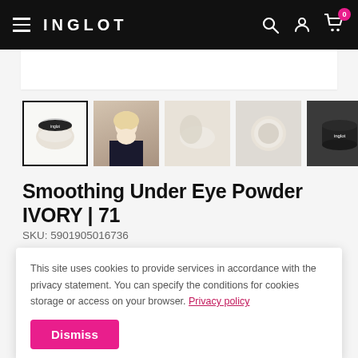INGLOT
[Figure (screenshot): Product thumbnail gallery showing Smoothing Under Eye Powder IVORY | 71 from multiple angles]
Smoothing Under Eye Powder IVORY | 71
SKU: 5901905016736
This site uses cookies to provide services in accordance with the privacy statement. You can specify the conditions for cookies storage or access on your browser. Privacy policy
Dismiss
Quantity 1